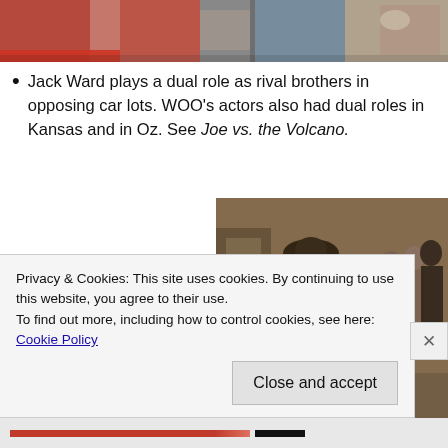[Figure (photo): Top portion of a photo showing cars in a lot, partially cropped at the top of the page]
Jack Ward plays a dual role as rival brothers in opposing car lots. WOO's actors also had dual roles in Kansas and in Oz. See Joe vs. the Volcano.
As in many early films, Spielberg favors the red
[Figure (photo): Sepia-toned vintage photograph showing a group of people gathered around a young girl lying in bed or on a surface, with a man in a cowboy hat standing behind them]
Privacy & Cookies: This site uses cookies. By continuing to use this website, you agree to their use.
To find out more, including how to control cookies, see here: Cookie Policy
Close and accept